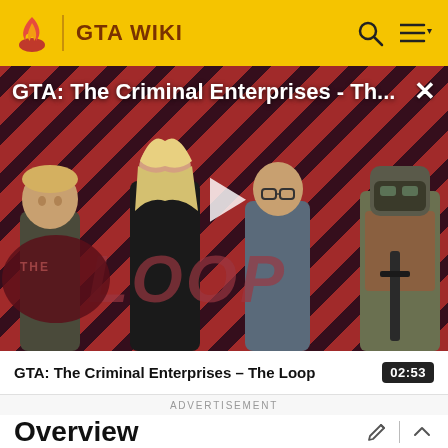GTA WIKI
[Figure (screenshot): GTA: The Criminal Enterprises - The Loop video thumbnail showing game characters on diagonal red and dark striped background with The Loop logo overlay and a play button]
GTA: The Criminal Enterprises - The Loop
02:53
ADVERTISEMENT
Overview